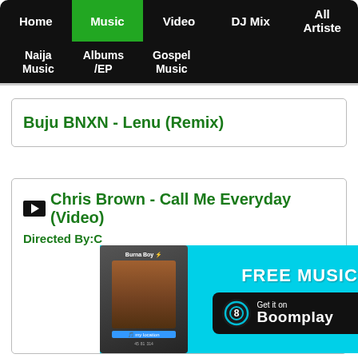Home | Music | Video | DJ Mix | All Artiste | Naija Music | Albums/EP | Gospel Music
Buju BNXN - Lenu (Remix)
Chris Brown - Call Me Everyday (Video)
Directed By:C...
[Figure (screenshot): Boomplay advertisement banner with FREE MUSIC text and Get it on Boomplay button, showing a phone with Burna Boy image]